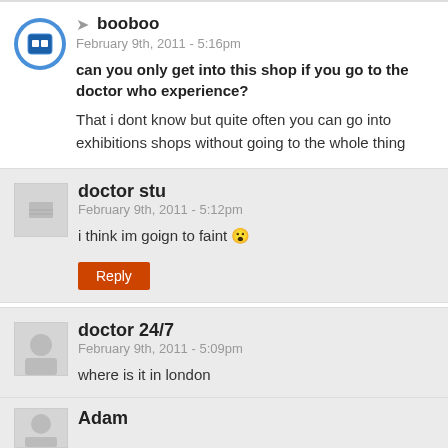booboo — February 9th, 2011 - 5:16pm
can you only get into this shop if you go to the doctor who experience?
That i dont know but quite often you can go into exhibitions shops without going to the whole thing
doctor stu — February 9th, 2011 - 5:12pm
i think im goign to faint 😮
Reply
doctor 24/7 — February 9th, 2011 - 5:09pm
where is it in london
Reply
Adam